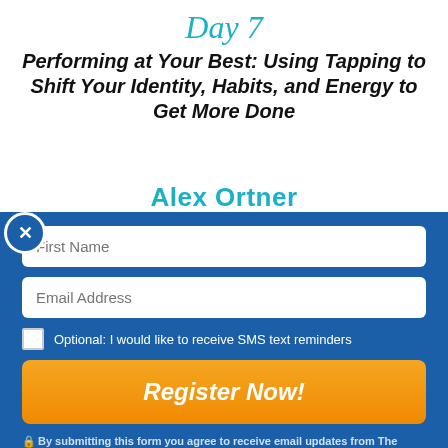Day 7
Performing at Your Best: Using Tapping to Shift Your Identity, Habits, and Energy to Get More Done
Alex Ortner
First Name
Email Address
Optional: I would like to receive SMS text reminders
Register Now!
By submitting this form you agree to receive email updates from The Tapping Solution. Your email will NEVER be shared or sold and you can easily unsubscribe at any time.